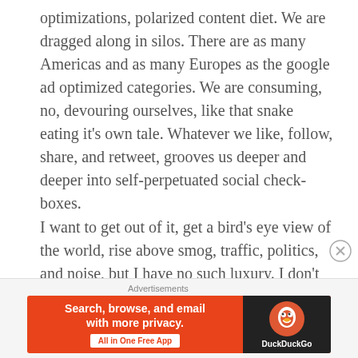optimizations, polarized content diet. We are dragged along in silos. There are as many Americas and as many Europes as the google ad optimized categories. We are consuming, no, devouring ourselves, like that snake eating it's own tale. Whatever we like, follow, share, and retweet, grooves us deeper and deeper into self-perpetuated social check-boxes.
I want to get out of it, get a bird's eye view of the world, rise above smog, traffic, politics, and noise, but I have no such luxury. I don't own all the pieces to the puzzle. I cannot guaranty authentication of anything, neither emails that I am getting, the software I'm constantly installing an updating, nor the news that
Advertisements
[Figure (advertisement): DuckDuckGo advertisement banner. Orange left section with white bold text 'Search, browse, and email with more privacy.' and a white button 'All in One Free App'. Dark right section with DuckDuckGo duck logo and 'DuckDuckGo' text.]